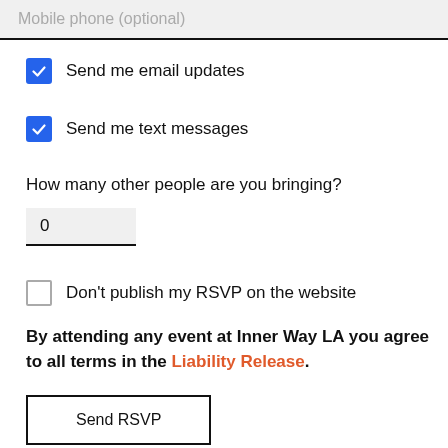[Figure (screenshot): Mobile phone (optional) input field with grey background and black bottom border]
Send me email updates (checked checkbox)
Send me text messages (checked checkbox)
How many other people are you bringing?
[Figure (screenshot): Number input field showing '0' with grey background and black bottom border]
Don't publish my RSVP on the website (unchecked checkbox)
By attending any event at Inner Way LA you agree to all terms in the Liability Release.
[Figure (screenshot): Send RSVP button with black border]